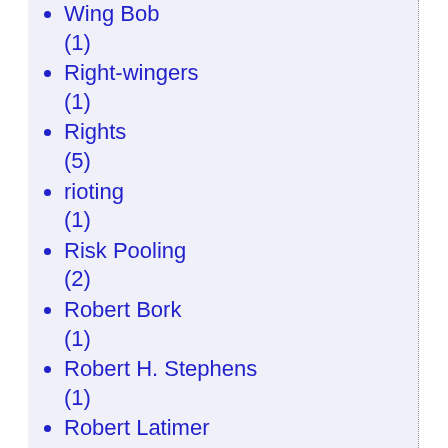Wing Bob (1)
Right-wingers (1)
Rights (5)
rioting (1)
Risk Pooling (2)
Robert Bork (1)
Robert H. Stephens (1)
Robert Latimer (1)
Robert Skidelsky (1)